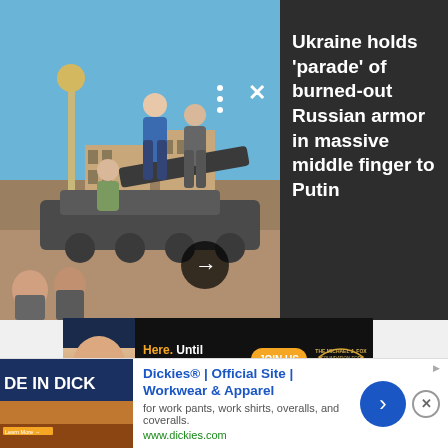[Figure (screenshot): News article hero image showing people climbing on burned-out Russian military armor/tank in a public square in Ukraine, with a monument column and buildings visible in the background, against a blue sky]
Ukraine holds 'parade' of burned-out Russian armor in massive middle finger to Putin
[Figure (screenshot): Advertisement banner for The Michael J. Fox Foundation for Parkinson's Research showing Michael J. Fox smiling with text 'Here. Until Parkinson's isn't.' and a JOIN US button]
[Figure (screenshot): Gray placeholder content area]
[Figure (screenshot): Bottom banner advertisement for Dickies Official Site showing workwear and apparel, with thumbnail image, blue title text, description, website URL, navigation chevron button, and close button]